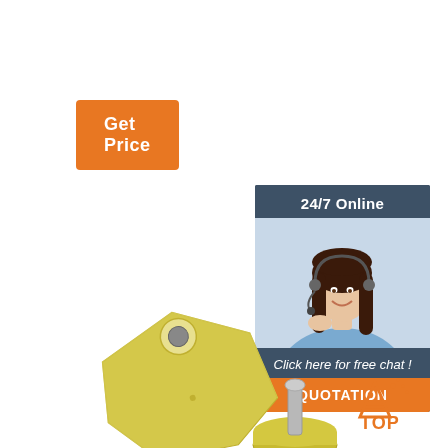[Figure (other): Orange 'Get Price' button in top left corner]
[Figure (infographic): 24/7 Online customer service sidebar with photo of woman with headset, 'Click here for free chat!' text and orange QUOTATION button]
[Figure (photo): Yellow livestock ear tag shown from two angles: large flat pentagonal tag with hole at top, and small round backing piece with pin]
[Figure (logo): TOP brand logo with orange 'A' and 'TOP' text with dots]